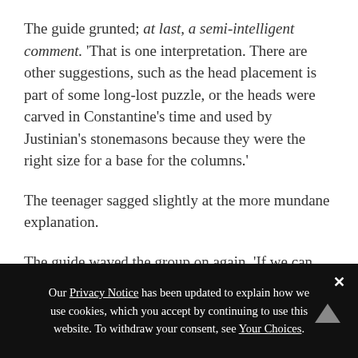The guide grunted; at last, a semi-intelligent comment. ‘That is one interpretation. There are other suggestions, such as the head placement is part of some long-lost puzzle, or the heads were carved in Constantine’s time and used by Justinian’s stonemasons because they were the right size for a base for the columns.’
The teenager sagged slightly at the more mundane explanation.
The guide waved the group on again. ‘If we can move along—hurry, please.’
Our Privacy Notice has been updated to explain how we use cookies, which you accept by continuing to use this website. To withdraw your consent, see Your Choices.